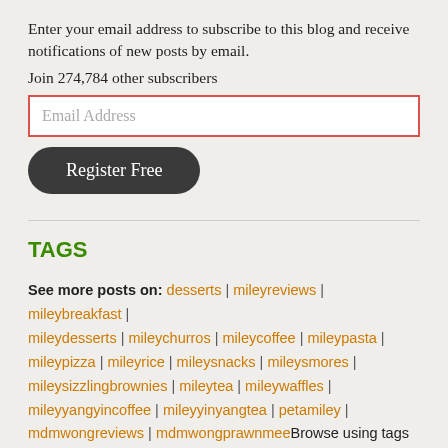Enter your email address to subscribe to this blog and receive notifications of new posts by email.
Join 274,784 other subscribers
[Figure (screenshot): Email address input field with red/pink border and Register Free button]
TAGS
See more posts on: desserts | mileyreviews | mileybreakfast | mileydesserts | mileychurros | mileycoffee | mileypasta | mileypizza | mileyrice | mileysnacks | mileysmores | mileysizzlingbrownies | mileytea | mileywaffles | mileyyangyincoffee | mileyyinyangtea | petamiley | mdmwongreviews | mdmwongprawnmee Browse using tags above